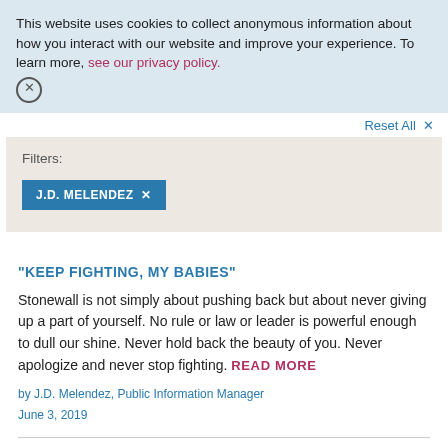This website uses cookies to collect anonymous information about how you interact with our website and improve your experience. To learn more, see our privacy policy.
Reset All ×
Filters:
J.D. MELENDEZ ×
"KEEP FIGHTING, MY BABIES"
Stonewall is not simply about pushing back but about never giving up a part of yourself. No rule or law or leader is powerful enough to dull our shine. Never hold back the beauty of you. Never apologize and never stop fighting. READ MORE
by J.D. Melendez, Public Information Manager
June 3, 2019